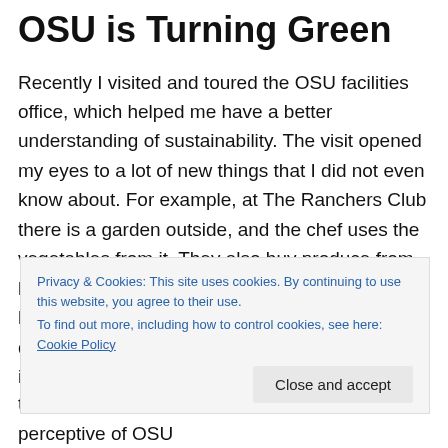OSU is Turning Green
Recently I visited and toured the OSU facilities office, which helped me have a better understanding of sustainability. The visit opened my eyes to a lot of new things that I did not even know about. For example, at The Ranchers Club there is a garden outside, and the chef uses the vegetables from it. They also buy produce from local places because that means plans do not have to fly to deliver it. There are so many small details that go into being sustainable. OSU puts in a lot of effort to be a sustainable campus. 70% of the electricity is produced by...
Privacy & Cookies: This site uses cookies. By continuing to use this website, you agree to their use.
To find out more, including how to control cookies, see here: Cookie Policy
that no one notices, and I gained a new perceptive of OSU